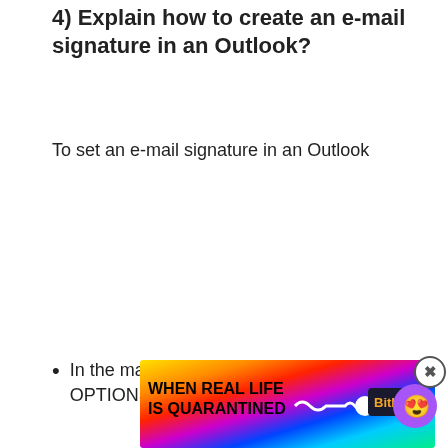4) Explain how to create an e-mail signature in an Outlook?
To set an e-mail signature in an Outlook
In the main menu under TOOLS, click on OPTIONS.
[Figure (other): BitLife advertisement banner with rainbow background, text 'WHEN REAL LIFE IS QUARANTINED', BitLife logo, emoji character with star eyes, thumbs up emoji, and close/info buttons.]